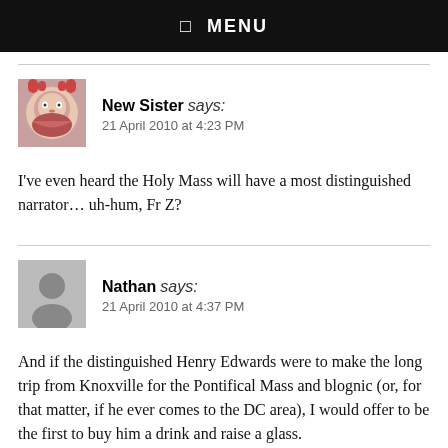☰ MENU
New Sister says:
21 April 2010 at 4:23 PM
I've even heard the Holy Mass will have a most distinguished narrator… uh-hum, Fr Z?
Nathan says:
21 April 2010 at 4:37 PM
And if the distinguished Henry Edwards were to make the long trip from Knoxville for the Pontifical Mass and blognic (or, for that matter, if he ever comes to the DC area), I would offer to be the first to buy him a drink and raise a glass.